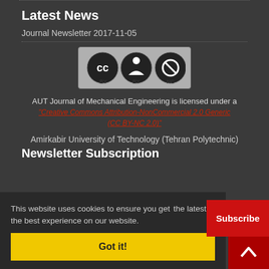Latest News
Journal Newsletter 2017-11-05
[Figure (logo): Creative Commons BY-NC license badge with three circular icons: CC, person, and no-money symbol, with BY and NC labels below]
AUT Journal of Mechanical Engineering is licensed under a
"Creative Commons Attribution-NonCommercial 2.0 Generic (CC BY-NC 2.0)"
Amirkabir University of Technology (Tehran Polytechnic)
Newsletter Subscription
This website uses cookies to ensure you get the best experience on our website.
Got it!
Subscribe